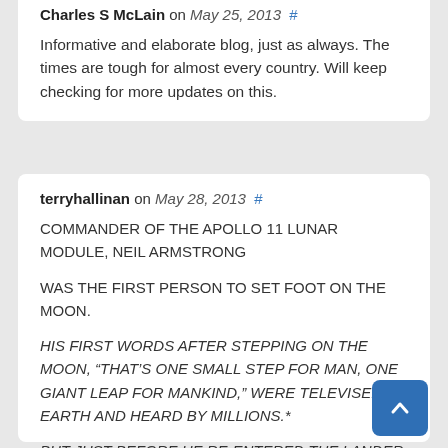Charles S McLain on May 25, 2013 #

Informative and elaborate blog, just as always. The times are tough for almost every country. Will keep checking for more updates on this.
terryhallinan on May 28, 2013 #

COMMANDER OF THE APOLLO 11 LUNAR MODULE, NEIL ARMSTRONG

WAS THE FIRST PERSON TO SET FOOT ON THE MOON.

HIS FIRST WORDS AFTER STEPPING ON THE MOON, “THAT’S ONE SMALL STEP FOR MAN, ONE GIANT LEAP FOR MANKIND,” WERE TELEVISED TO EARTH AND HEARD BY MILLIONS.*

BUT JUST BEFORE HE RE-ENTERED THE LANDER, HE MADE THE ENIGMATIC REMARK:

“GOOD LUCK, MR. GORSKY.”